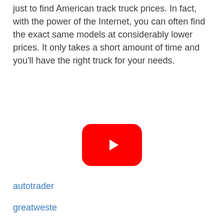just to find American track truck prices. In fact, with the power of the Internet, you can often find the exact same models at considerably lower prices. It only takes a short amount of time and you'll have the right truck for your needs.
[Figure (other): YouTube play button icon — red rounded rectangle with white triangle play arrow]
autotrader
greatweste